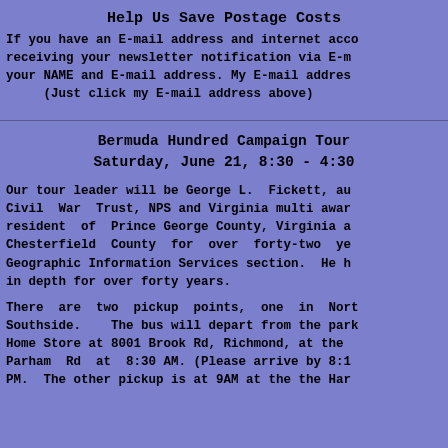Help Us Save Postage Costs
If you have an E-mail address and internet access, receiving your newsletter notification via E-mail, your NAME and E-mail address. My E-mail address (Just click my E-mail address above)
Bermuda Hundred Campaign Tour
Saturday, June 21, 8:30 - 4:30
Our tour leader will be George L. Fickett, au Civil War Trust, NPS and Virginia multi awar resident of Prince George County, Virginia a Chesterfield County for over forty-two ye Geographic Information Services section. He h in depth for over forty years.
There are two pickup points, one in Nort Southside. The bus will depart from the park Home Store at 8001 Brook Rd, Richmond, at the Parham Rd at 8:30 AM. (Please arrive by 8:1 PM. The other pickup is at 9AM at the the Har